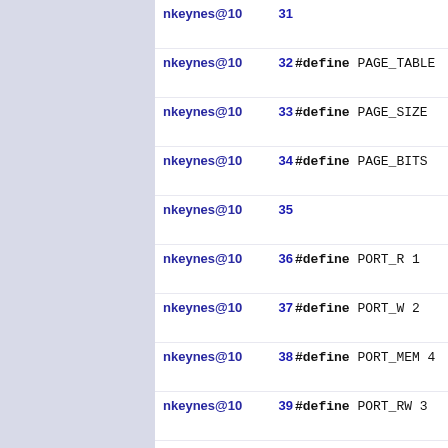| author | line | code |
| --- | --- | --- |
| nkeynes@10 | 31 |  |
| nkeynes@10 | 32 | #define PAGE_TABLE |
| nkeynes@10 | 33 | #define PAGE_SIZE |
| nkeynes@10 | 34 | #define PAGE_BITS |
| nkeynes@10 | 35 |  |
| nkeynes@10 | 36 | #define PORT_R 1 |
| nkeynes@10 | 37 | #define PORT_W 2 |
| nkeynes@10 | 38 | #define PORT_MEM 4 |
| nkeynes@10 | 39 | #define PORT_RW 3 |
| nkeynes@10 | 40 | #define PORT_MR 5 |
| nkeynes@10 | 41 | #define PORT_MRW 7 |